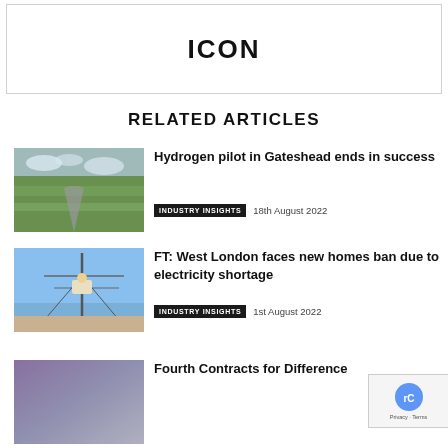ICON
RELATED ARTICLES
[Figure (photo): Aerial view of countryside with road or railway line]
Hydrogen pilot in Gateshead ends in success
INDUSTRY INSIGHTS   18th August 2022
[Figure (photo): Workers on a utility pole or mast against blue sky]
FT: West London faces new homes ban due to electricity shortage
INDUSTRY INSIGHTS   1st August 2022
[Figure (photo): Abstract purple/grey gradient image]
Fourth Contracts for Difference